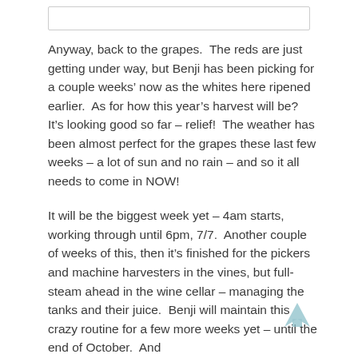Anyway, back to the grapes.  The reds are just getting under way, but Benji has been picking for a couple weeks’ now as the whites here ripened earlier.  As for how this year’s harvest will be?  It’s looking good so far – relief!  The weather has been almost perfect for the grapes these last few weeks – a lot of sun and no rain – and so it all needs to come in NOW!
It will be the biggest week yet – 4am starts, working through until 6pm, 7/7.  Another couple of weeks of this, then it’s finished for the pickers and machine harvesters in the vines, but full-steam ahead in the wine cellar – managing the tanks and their juice.  Benji will maintain this crazy routine for a few more weeks yet – until the end of October.  And